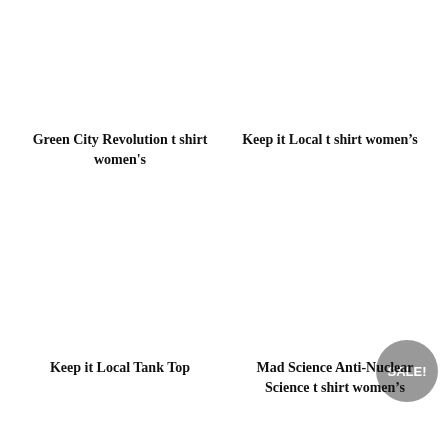Green City Revolution t shirt women's
Keep it Local t shirt women's
[Figure (other): Sale badge - grey circular badge with white text reading SALE!]
Keep it Local Tank Top
Mad Science Anti-Nuclear Science t shirt women's